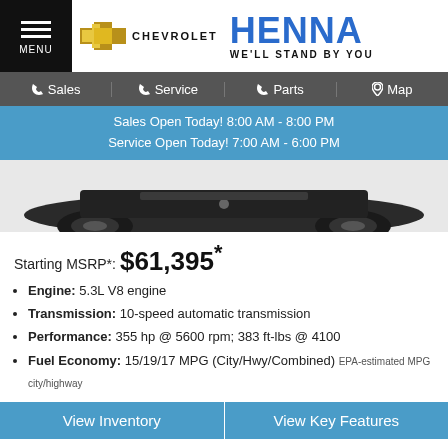MENU | Henna Chevrolet — WE'LL STAND BY YOU
Sales | Service | Parts | Map
Sales Open Today! 8:00 AM - 8:00 PM
Service Open Today! 7:00 AM - 6:00 PM
[Figure (photo): Bottom rear view of a dark-colored Chevrolet SUV/truck on white background]
Starting MSRP*: $61,395*
Engine: 5.3L V8 engine
Transmission: 10-speed automatic transmission
Performance: 355 hp @ 5600 rpm; 383 ft-lbs @ 4100
Fuel Economy: 15/19/17 MPG (City/Hwy/Combined) EPA-estimated MPG city/highway
View Inventory | View Key Features
Z71